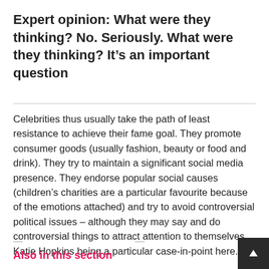Expert opinion: What were they thinking? No. Seriously. What were they thinking? It’s an important question
Celebrities thus usually take the path of least resistance to achieve their fame goal. They promote consumer goods (usually fashion, beauty or food and drink). They try to maintain a significant social media presence. They endorse popular social causes (children’s charities are a particular favourite because of the emotions attached) and try to avoid controversial political issues – although they may say and do controversial things to attract attention to themselves. Katie Hopkins being a particular case-in-point here.
Also in this section